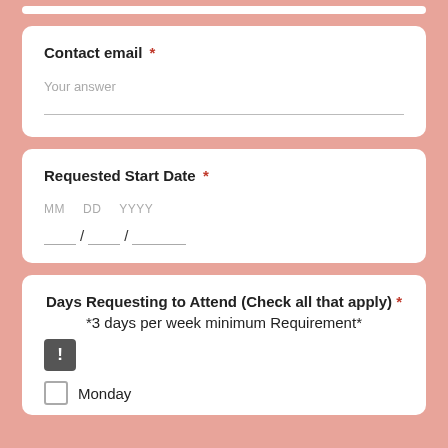Contact email *
Your answer
Requested Start Date *
MM DD YYYY / /
Days Requesting to Attend (Check all that apply) * *3 days per week minimum Requirement*
Monday